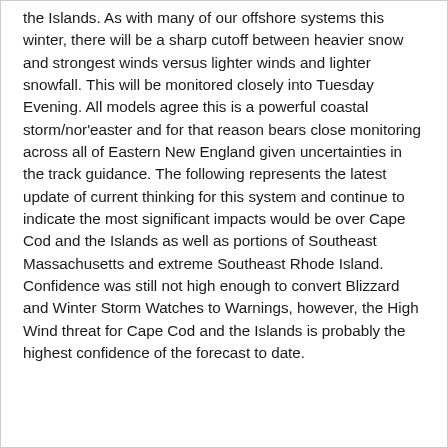the Islands. As with many of our offshore systems this winter, there will be a sharp cutoff between heavier snow and strongest winds versus lighter winds and lighter snowfall. This will be monitored closely into Tuesday Evening. All models agree this is a powerful coastal storm/nor'easter and for that reason bears close monitoring across all of Eastern New England given uncertainties in the track guidance. The following represents the latest update of current thinking for this system and continue to indicate the most significant impacts would be over Cape Cod and the Islands as well as portions of Southeast Massachusetts and extreme Southeast Rhode Island. Confidence was still not high enough to convert Blizzard and Winter Storm Watches to Warnings, however, the High Wind threat for Cape Cod and the Islands is probably the highest confidence of the forecast to date.